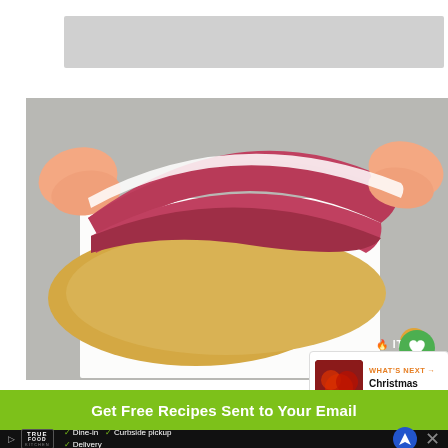[Figure (photo): Hands peeling back parchment paper from a raspberry-red dough sheet laying on top of a yellow pasta/dough sheet on a white surface, overhead view]
WHAT'S NEXT → Christmas Pinwheel...
Get Free Recipes Sent to Your Email
✓ Dine-in  ✓ Curbside pickup  ✓ Delivery